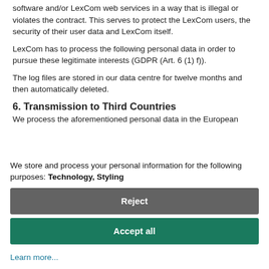software and/or LexCom web services in a way that is illegal or violates the contract. This serves to protect the LexCom users, the security of their user data and LexCom itself.
LexCom has to process the following personal data in order to pursue these legitimate interests (GDPR (Art. 6 (1) f)).
The log files are stored in our data centre for twelve months and then automatically deleted.
6. Transmission to Third Countries
We process the aforementioned personal data in the European...
We store and process your personal information for the following purposes: Technology, Styling
Reject
Accept all
Learn more...